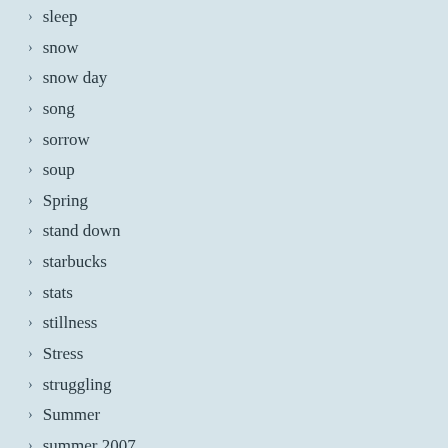sleep
snow
snow day
song
sorrow
soup
Spring
stand down
starbucks
stats
stillness
Stress
struggling
Summer
summer 2007
Sunday
Sunday Slideshow